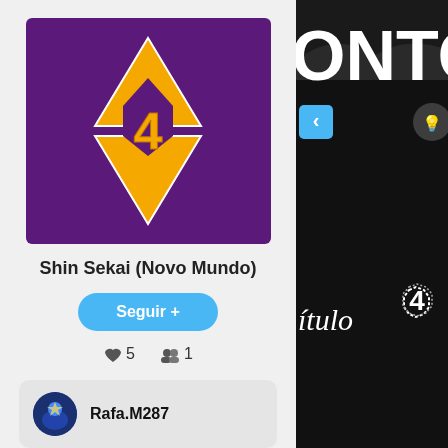[Figure (illustration): Orange Star of David with number 4 in center on purple background]
Shin Sekai (Novo Mundo)
Seguir +
♥ 5  👥 1
Rafa.M287
[Figure (screenshot): Right panel: black background with partial white text 'ONTO', blue left arrow button, light bulb icon, italic text 'itulo' and badge with number 4]